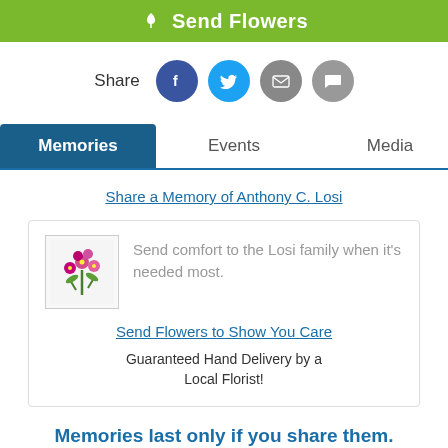[Figure (other): Green Send Flowers button with flower icon]
Share
[Figure (other): Social share icons: Facebook (blue), Twitter (cyan), Email (gray), Comment (gray)]
Memories   Events   Media
Share a Memory of Anthony C. Losi
[Figure (other): Flower arrangement promotional card with tulip image, text: Send comfort to the Losi family when it's needed most. Send Flowers to Show You Care. Guaranteed Hand Delivery by a Local Florist!]
Memories last only if you share them.